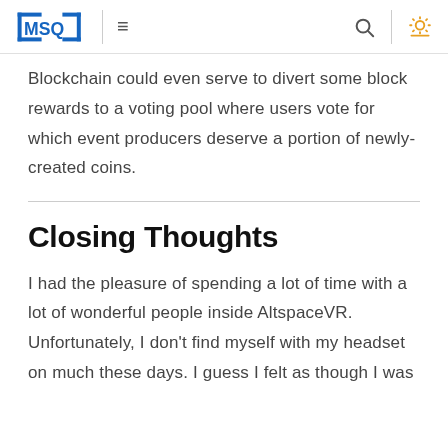MSQ
Blockchain could even serve to divert some block rewards to a voting pool where users vote for which event producers deserve a portion of newly-created coins.
Closing Thoughts
I had the pleasure of spending a lot of time with a lot of wonderful people inside AltspaceVR. Unfortunately, I don't find myself with my headset on much these days. I guess I felt as though I was